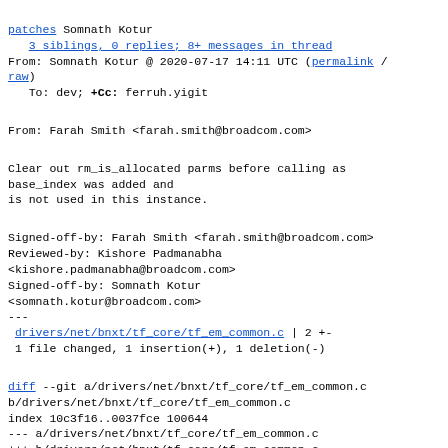patches Somnath Kotur
   3 siblings, 0 replies; 8+ messages in thread
From: Somnath Kotur @ 2020-07-17 14:11 UTC (permalink / raw)
   To: dev; +Cc: ferruh.yigit
From: Farah Smith <farah.smith@broadcom.com>
Clear out rm_is_allocated parms before calling as
base_index was added and
is not used in this instance.
Signed-off-by: Farah Smith <farah.smith@broadcom.com>
Reviewed-by: Kishore Padmanabha
<kishore.padmanabha@broadcom.com>
Signed-off-by: Somnath Kotur
<somnath.kotur@broadcom.com>
---
 drivers/net/bnxt/tf_core/tf_em_common.c | 2 +-
 1 file changed, 1 insertion(+), 1 deletion(-)
diff --git a/drivers/net/bnxt/tf_core/tf_em_common.c b/drivers/net/bnxt/tf_core/tf_em_common.c
index 10c3f16..0037fce 100644
--- a/drivers/net/bnxt/tf_core/tf_em_common.c
+++ b/drivers/net/bnxt/tf_core/tf_em_common.c
@@ -71,7 +71,7 @@ struct tf_tbl_scope_cb *
 tbl_scope_cb_find(uint32_t tbl_scope_id)
 {
        int i;